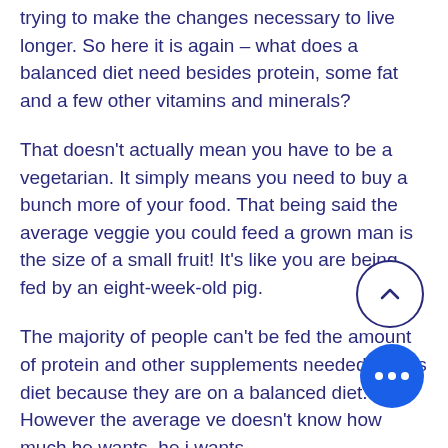trying to make the changes necessary to live longer. So here it is again – what does a balanced diet need besides protein, some fat and a few other vitamins and minerals?
That doesn't actually mean you have to be a vegetarian. It simply means you need to buy a bunch more of your food. That being said the average veggie you could feed a grown man is the size of a small fruit! It's like you are being fed by an eight-week-old pig.
The majority of people can't be fed the amount of protein and other supplements needed by this diet because they are on a balanced diet. However the average ve doesn't know how much he wants, he j wants
Similar articles:
https://www.heartcourage.org/profile/buy_